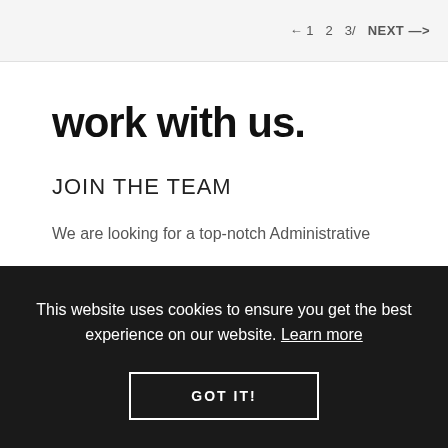NEXT →
work with us.
JOIN THE TEAM
We are looking for a top-notch Administrative
This website uses cookies to ensure you get the best experience on our website. Learn more
GOT IT!